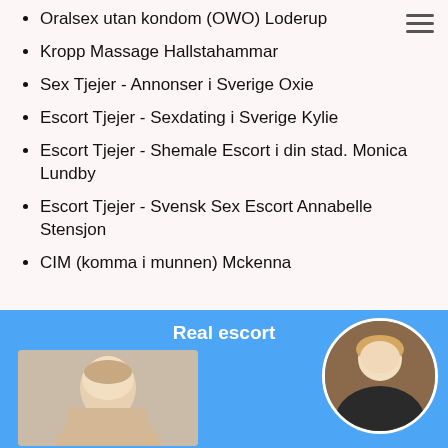Oralsex utan kondom (OWO) Loderup
Kropp Massage Hallstahammar
Sex Tjejer - Annonser i Sverige Oxie
Escort Tjejer - Sexdating i Sverige Kylie
Escort Tjejer - Shemale Escort i din stad. Monica Lundby
Escort Tjejer - Svensk Sex Escort Annabelle Stensjon
CIM (komma i munnen) Mckenna
[Figure (photo): Blue banner with 'Real escort' label, a rectangular photo of a blonde woman on the left, and a circular profile photo of a blonde woman in dark clothing on the right.]